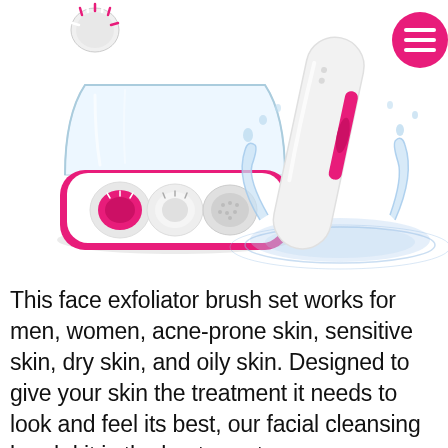[Figure (photo): Product photo showing a pink and white facial cleansing brush set: an open clear/pink storage case containing multiple brush attachments (exfoliating brush head, soft brush, pumice stone), a loose small brush head above the case, and a pink-and-white electric facial brush device splashing in water on the right side. A pink circle hamburger menu icon is in the top right corner.]
This face exfoliator brush set works for men, women, acne-prone skin, sensitive skin, dry skin, and oily skin. Designed to give your skin the treatment it needs to look and feel its best, our facial cleansing brush kit is the best way to